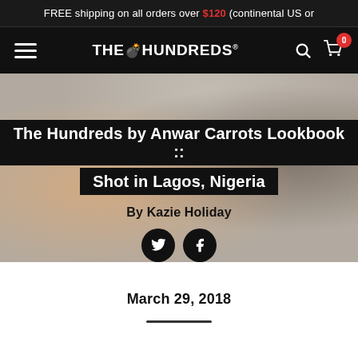FREE shipping on all orders over $120 (continental US or
[Figure (screenshot): The Hundreds website navigation bar with hamburger menu, logo, search icon, and cart icon with badge showing 0]
[Figure (photo): Hero image of people inside a vehicle, shot in Lagos Nigeria, with overlaid article title 'The Hundreds by Anwar Carrots Lookbook :: Shot in Lagos, Nigeria', byline 'By Kazie Holiday', and social share buttons for Twitter and Facebook]
March 29, 2018